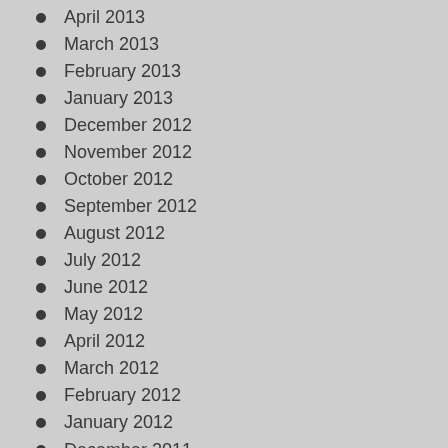April 2013
March 2013
February 2013
January 2013
December 2012
November 2012
October 2012
September 2012
August 2012
July 2012
June 2012
May 2012
April 2012
March 2012
February 2012
January 2012
December 2011
November 2011
October 2011
September 2011
August 2011
July 2011